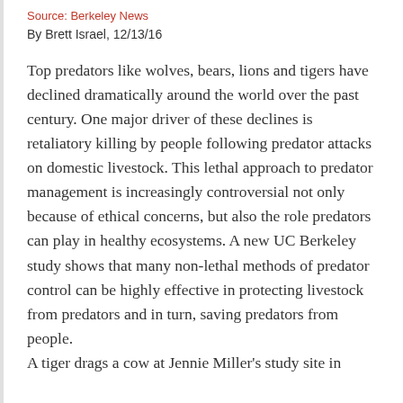Source: Berkeley News
By Brett Israel, 12/13/16
Top predators like wolves, bears, lions and tigers have declined dramatically around the world over the past century. One major driver of these declines is retaliatory killing by people following predator attacks on domestic livestock. This lethal approach to predator management is increasingly controversial not only because of ethical concerns, but also the role predators can play in healthy ecosystems. A new UC Berkeley study shows that many non-lethal methods of predator control can be highly effective in protecting livestock from predators and in turn, saving predators from people.
A tiger drags a cow at Jennie Miller's study site in